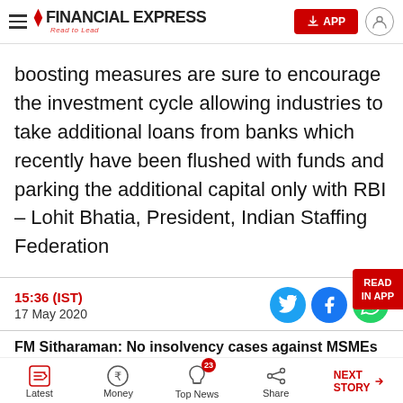FINANCIAL EXPRESS — Read to Lead
boosting measures are sure to encourage the investment cycle allowing industries to take additional loans from banks which recently have been flushed with funds and parking the additional capital only with RBI – Lohit Bhatia, President, Indian Staffing Federation
15:36 (IST)
17 May 2020
FM Sitharaman: No insolvency cases against MSMEs for 1
Latest | Money | Top News 23 | Share | NEXT STORY